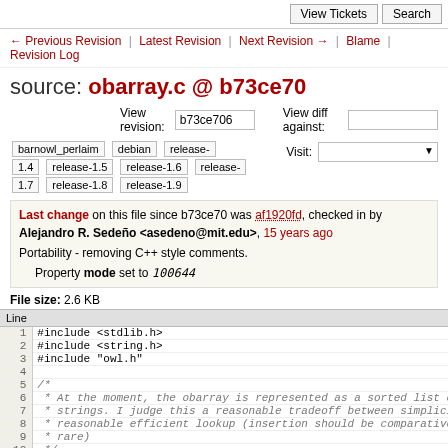View Tickets | Search
← Previous Revision | Latest Revision | Next Revision → | Blame | Revision Log
source: obarray.c @ b73ce70
View revision: b73ce706   View diff against:
barnowl_perlaim  debian  release-1.4  release-1.5  release-1.6  release-1.7  release-1.8  release-1.9   Visit:
Last change on this file since b73ce70 was af1920fd, checked in by Alejandro R. Sedeño <asedeno@mit.edu>, 15 years ago
Portability - removing C++ style comments.
Property mode set to 100644
File size: 2.6 KB
| Line |  |
| --- | --- |
| 1 | #include <stdlib.h> |
| 2 | #include <string.h> |
| 3 | #include "owl.h" |
| 4 |  |
| 5 | /* |
| 6 |  * At the moment, the obarray is represented as a sorted list of |
| 7 |  * strings. I judge this a reasonable tradeoff between simplicity and |
| 8 |  * reasonable efficient lookup (insertion should be comparatively |
| 9 |  * rare) |
| 10 |  */ |
| 11 |  |
| 12 | /* Helper method: Lookup a key in the obarray. If the |